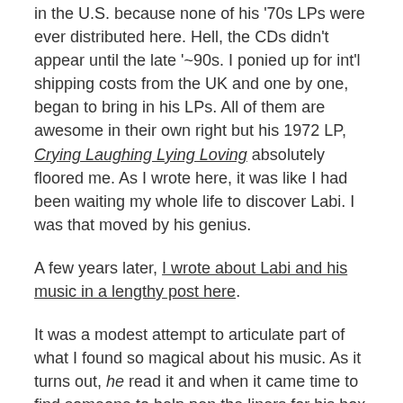in the U.S. because none of his '70s LPs were ever distributed here. Hell, the CDs didn't appear until the late '~90s. I ponied up for int'l shipping costs from the UK and one by one, began to bring in his LPs. All of them are awesome in their own right but his 1972 LP, Crying Laughing Lying Loving absolutely floored me. As I wrote here, it was like I had been waiting my whole life to discover Labi. I was that moved by his genius.
A few years later, I wrote about Labi and his music in a lengthy post here.
It was a modest attempt to articulate part of what I found so magical about his music. As it turns out, he read it and when it came time to find someone to help pen the liners for his box set, he and his manager approached me. To say I was honored would be a massive understatement. (On a side note, even if blogging feels very "mid 2000s" now, creating Soul Sides has been extraordinary good to me over the years).